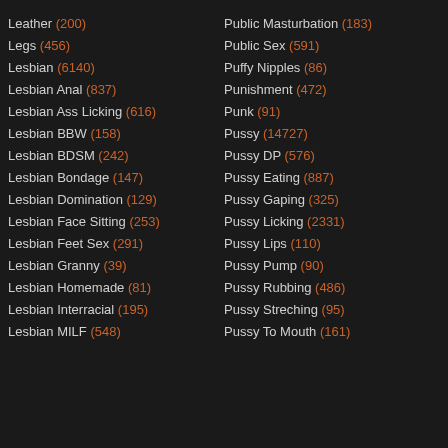Leather (200)
Legs (456)
Lesbian (6140)
Lesbian Anal (837)
Lesbian Ass Licking (616)
Lesbian BBW (158)
Lesbian BDSM (242)
Lesbian Bondage (147)
Lesbian Domination (129)
Lesbian Face Sitting (253)
Lesbian Feet Sex (291)
Lesbian Granny (39)
Lesbian Homemade (81)
Lesbian Interracial (195)
Lesbian MILF (548)
Public Masturbation (183)
Public Sex (591)
Puffy Nipples (86)
Punishment (472)
Punk (91)
Pussy (14727)
Pussy DP (576)
Pussy Eating (887)
Pussy Gaping (325)
Pussy Licking (2331)
Pussy Lips (110)
Pussy Pump (90)
Pussy Rubbing (486)
Pussy Streching (95)
Pussy To Mouth (161)